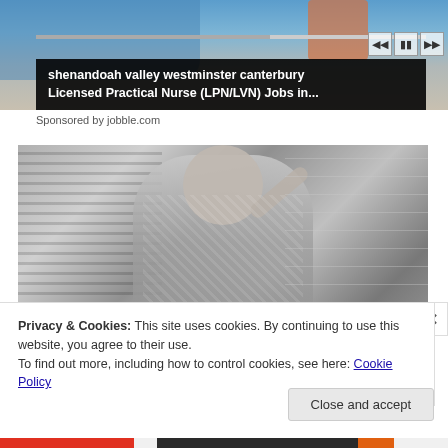[Figure (screenshot): Video player screenshot showing a nurse in blue scrubs, with playback controls and progress bar at top]
shenandoah valley westminster canterbury Licensed Practical Nurse (LPN/LVN) Jobs in...
Sponsored by jobble.com
[Figure (photo): Black and white vintage photo of a woman in an apron in a kitchen, hand raised to forehead]
Privacy & Cookies: This site uses cookies. By continuing to use this website, you agree to their use.
To find out more, including how to control cookies, see here: Cookie Policy
Close and accept